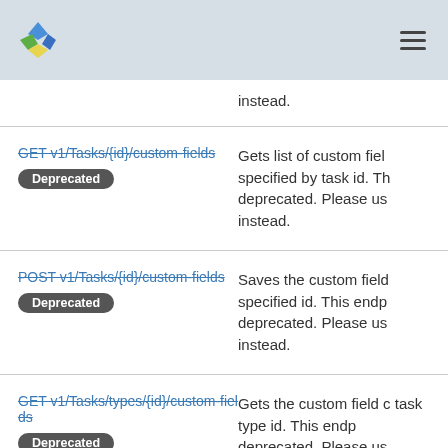GET v1/Tasks/{id}/custom-fields [Deprecated] — Gets list of custom fields specified by task id. This endpoint is deprecated. Please use instead.
POST v1/Tasks/{id}/custom-fields [Deprecated] — Saves the custom field specified id. This endpoint is deprecated. Please use instead.
GET v1/Tasks/types/{id}/custom-fields [Deprecated] — Gets the custom field of task type id. This endpoint is deprecated. Please use instead.
VendorLocations
APIs to search vendor locations.